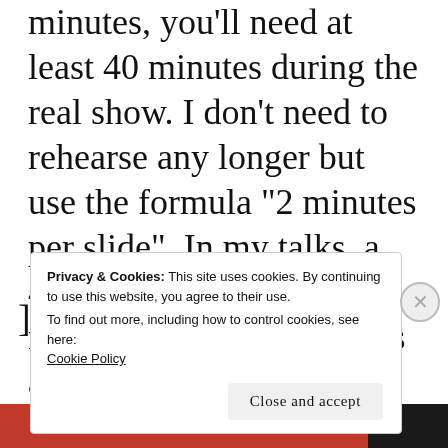minutes, you'll need at least 40 minutes during the real show. I don't need to rehearse any longer but use the formula "2 minutes per slide". In my talks, a 40-minute presentation means about 20 slides. It's a rough estimate, and you should come up with the formula that fits your style.
Privacy & Cookies: This site uses cookies. By continuing to use this website, you agree to their use. To find out more, including how to control cookies, see here: Cookie Policy